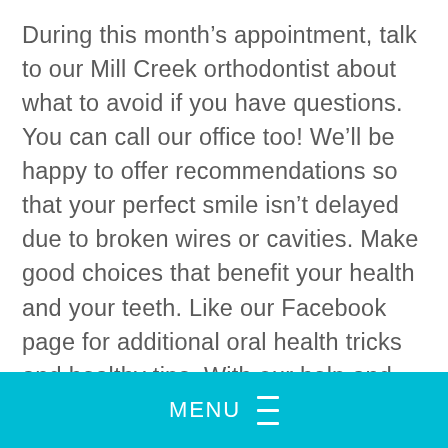During this month's appointment, talk to our Mill Creek orthodontist about what to avoid if you have questions. You can call our office too! We'll be happy to offer recommendations so that your perfect smile isn't delayed due to broken wires or cavities. Make good choices that benefit your health and your teeth. Like our Facebook page for additional oral health tricks and healthy tips. With our help and your awareness, your smile will look better than the jack-o-lanterns lighting your route for trick-or-treating with braces.
MENU ☰